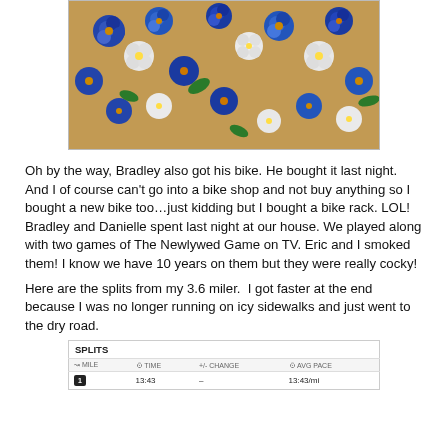[Figure (photo): Photo of blue and white artificial flowers arranged on a wooden surface]
Oh by the way, Bradley also got his bike. He bought it last night. And I of course can't go into a bike shop and not buy anything so I bought a new bike too…just kidding but I bought a bike rack. LOL! Bradley and Danielle spent last night at our house. We played along with two games of The Newlywed Game on TV. Eric and I smoked them! I know we have 10 years on them but they were really cocky!
Here are the splits from my 3.6 miler.  I got faster at the end because I was no longer running on icy sidewalks and just went to the dry road.
| MILE | TIME | +/- CHANGE | AVG PACE |
| --- | --- | --- | --- |
| 1 | 13:43 | – | 13:43/mi |